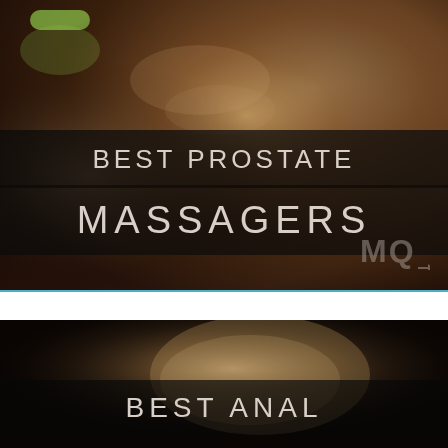[Figure (photo): Dark moody photo of human torso/body with warm skin tones and dramatic lighting, serving as background for top banner]
BEST PROSTATE MASSAGERS
[Figure (logo): MQ logo with arrow in bottom right of top image panel]
[Figure (photo): Dark moody photo of human body silhouette with warm skin tones against dark background]
BEST ANAL